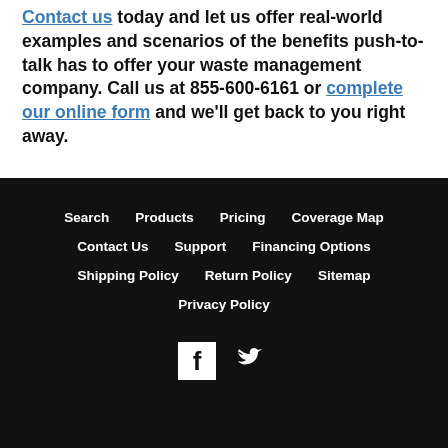Contact us today and let us offer real-world examples and scenarios of the benefits push-to-talk has to offer your waste management company. Call us at 855-600-6161 or complete our online form and we'll get back to you right away.
Search | Products | Pricing | Coverage Map | Contact Us | Support | Financing Options | Shipping Policy | Return Policy | Sitemap | Privacy Policy
[Figure (illustration): Facebook and Twitter social media icons in white on black background]